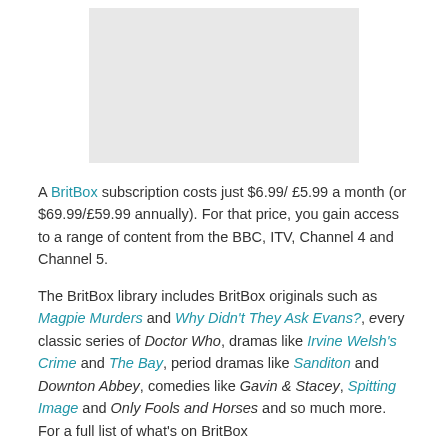[Figure (other): Gray rectangular image placeholder]
A BritBox subscription costs just $6.99/ £5.99 a month (or $69.99/£59.99 annually). For that price, you gain access to a range of content from the BBC, ITV, Channel 4 and Channel 5.
The BritBox library includes BritBox originals such as Magpie Murders and Why Didn't They Ask Evans?, every classic series of Doctor Who, dramas like Irvine Welsh's Crime and The Bay, period dramas like Sanditon and Downton Abbey, comedies like Gavin & Stacey, Spitting Image and Only Fools and Horses and so much more. For a full list of what's on BritBox